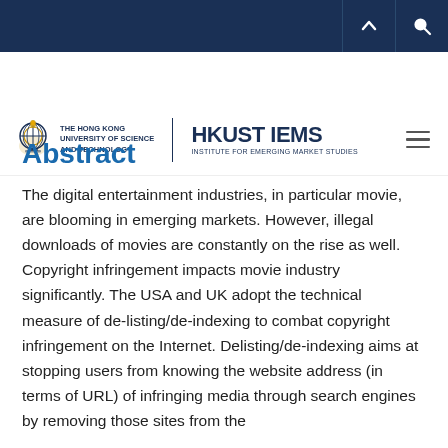THE HONG KONG UNIVERSITY OF SCIENCE AND TECHNOLOGY | HKUST IEMS — INSTITUTE FOR EMERGING MARKET STUDIES
Abstract
The digital entertainment industries, in particular movie, are blooming in emerging markets. However, illegal downloads of movies are constantly on the rise as well. Copyright infringement impacts movie industry significantly. The USA and UK adopt the technical measure of de-listing/de-indexing to combat copyright infringement on the Internet. Delisting/de-indexing aims at stopping users from knowing the website address (in terms of URL) of infringing media through search engines by removing those sites from the search results index. As proposed by the European...